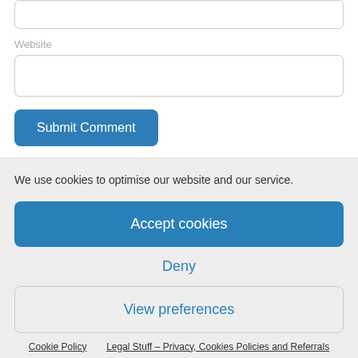Website
[Figure (screenshot): Website text input field (empty)]
[Figure (screenshot): Submit Comment button (blue rounded)]
We use cookies to optimise our website and our service.
[Figure (screenshot): Accept cookies button (blue)]
Deny
[Figure (screenshot): View preferences button (outlined)]
Cookie Policy    Legal Stuff – Privacy, Cookies Policies and Referrals